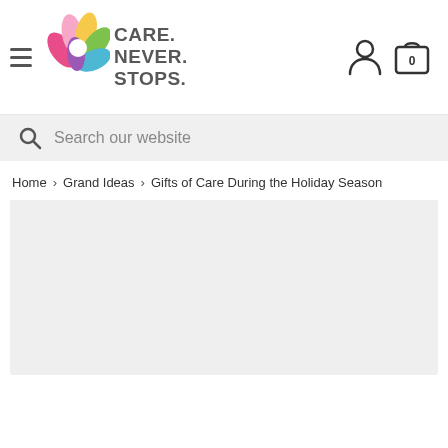[Figure (logo): Care. Never. Stops. logo with colorful flower/lotus petals above the text, navigation header with hamburger menu, user icon, and shopping cart icon showing 0 items]
Search our website
Home > Grand Ideas > Gifts of Care During the Holiday Season
[Figure (photo): Large light gray placeholder image area for a hero/banner image related to Gifts of Care During the Holiday Season article]